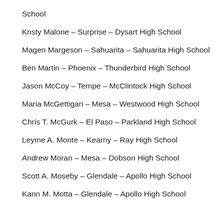School
Knsty Malone – Surprise  – Dysart High School
Magen Margeson – Sahuarita – Sahuarita High School
Ben Martin – Phoenix  – Thunderbird High School
Jason McCoy – Tempe – McClintock High School
Maria McGettigan – Mesa – Westwood High School
Chris T. McGurk – El Paso – Parkland High School
Leyme A. Monte – Kearny – Ray High School
Andrew Moran – Mesa – Dobson High School
Scott A. Moseby – Glendale – Apollo High School
Kann M. Motta – Glendale – Apollo High School